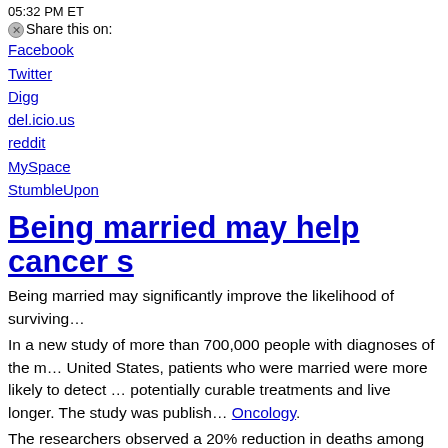05:32 PM ET
Share this on:
Facebook
Twitter
Digg
del.icio.us
reddit
MySpace
StumbleUpon
Being married may help cancer s…
Being married may significantly improve the likelihood of surviving…
In a new study of more than 700,000 people with diagnoses of the m… United States, patients who were married were more likely to detect … potentially curable treatments and live longer. The study was publish… Oncology.
The researchers observed a 20% reduction in deaths among the patie… compared to unmarried patients - a benefit bigger than several kinds … treating cancer.
“It is pretty astonishing,” Dr. Paul Nguyen, the study’s senior author,…